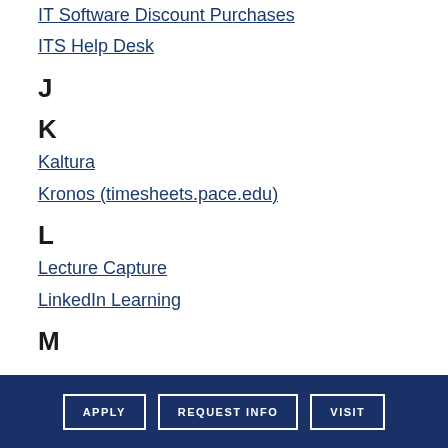IT Software Discount Purchases
ITS Help Desk
J
K
Kaltura
Kronos (timesheets.pace.edu)
L
Lecture Capture
LinkedIn Learning
M
APPLY  REQUEST INFO  VISIT